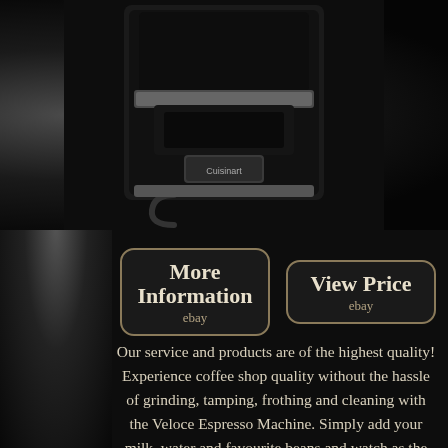[Figure (photo): Product photo of a Cuisinart espresso coffee machine in black and silver, shown against a dark background with eBay watermark overlay]
More Information
ebay
View Price
ebay
Our service and products are of the highest quality! Experience coffee shop quality without the hassle of grinding, tamping, frothing and cleaning with the Veloce Espresso Machine. Simply add your milk, water and favourite beans and watch as the machine automatically grinds and extracts your coffee whilst adding the correct blend of steamed and frothed milk, all in one automatic cycle. Use the clever and intuitive touch screen display to follow simple instructions to select your choice of drink from espresso, Americano, latte, cappuccino, hot